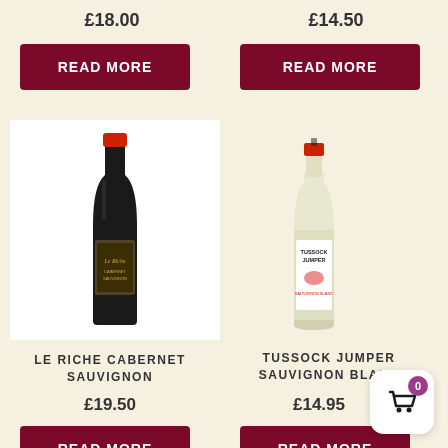£18.00
£14.50
READ MORE
READ MORE
[Figure (photo): Le Riche Cabernet Sauvignon red wine bottle with dark label on white background]
[Figure (photo): Tussock Jumper Sauvignon Blanc white wine bottle with white label and red cap]
LE RICHE CABERNET SAUVIGNON
TUSSOCK JUMPER SAUVIGNON BLANC
£19.50
£14.95
READ MORE
READ MORE